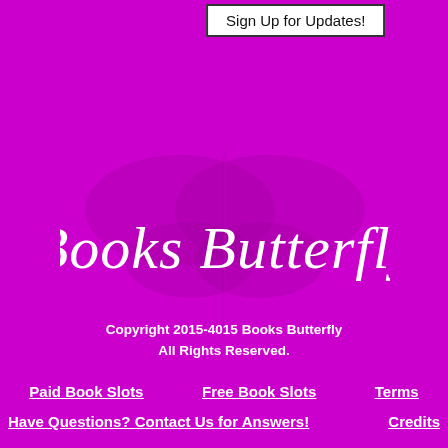Sign Up for Updates!
[Figure (illustration): Books Butterfly logo in white cursive/script font on magenta/purple background, with a faint vertical line suggesting a butterfly shape above]
Copyright 2015-4015 Books Butterfly
All Rights Reserved.
Paid Book Slots    Free Book Slots    Terms
Have Questions? Contact Us for Answers!    Credits